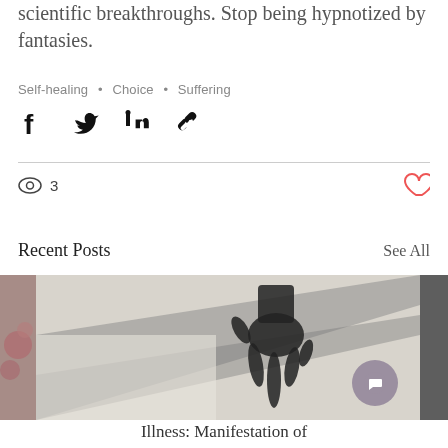scientific breakthroughs. Stop being hypnotized by fantasies.
Self-healing • Choice • Suffering
[Figure (other): Social share icons: Facebook, Twitter, LinkedIn, Link]
3 views, like button
Recent Posts
See All
[Figure (photo): Three thumbnail images side by side; center image shows a black-and-white photo of a hand shadow on light surface]
Illness: Manifestation of